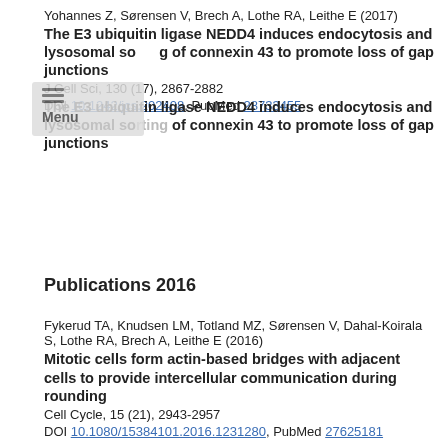Yohannes Z, Sørensen V, Brech A, Lothe RA, Leithe E (2017)
The E3 ubiquitin ligase NEDD4 induces endocytosis and lysosomal sorting of connexin 43 to promote loss of gap junctions
J Cell Sci, 130 (17), 2867-2882
DOI 10.1242/jcs.202408, PubMed 28733455
Publications 2016
Fykerud TA, Knudsen LM, Totland MZ, Sørensen V, Dahal-Koirala S, Lothe RA, Brech A, Leithe E (2016)
Mitotic cells form actin-based bridges with adjacent cells to provide intercellular communication during rounding
Cell Cycle, 15 (21), 2943-2957
DOI 10.1080/15384101.2016.1231280, PubMed 27625181
Haugsten EM, Sørensen V, Kunova Bosakova M, de Souza GA, Krejci P, Wiedlocha A, Wesche J (2016)
Proximity Labeling Reveals Molecular Determinants of FGFR4 Endosomal Transport
J Proteome Res, 15 (10), 3841-3855
DOI 10.1021/acs.jproteome.6b00652, PubMed 27615514
Publications 2014